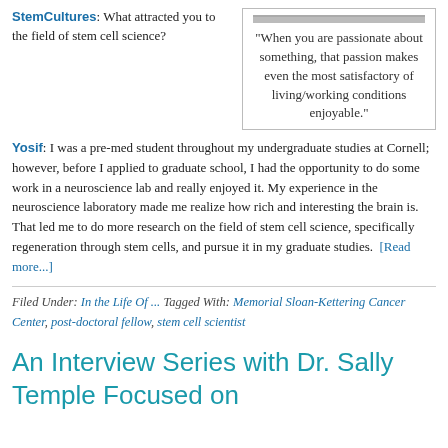[Figure (photo): Photo of a person (partially visible at top right corner of page)]
"When you are passionate about something, that passion makes even the most satisfactory of living/working conditions enjoyable."
StemCultures: What attracted you to the field of stem cell science?
Yosif: I was a pre-med student throughout my undergraduate studies at Cornell; however, before I applied to graduate school, I had the opportunity to do some work in a neuroscience lab and really enjoyed it. My experience in the neuroscience laboratory made me realize how rich and interesting the brain is. That led me to do more research on the field of stem cell science, specifically regeneration through stem cells, and pursue it in my graduate studies. [Read more...]
Filed Under: In the Life Of ... Tagged With: Memorial Sloan-Kettering Cancer Center, post-doctoral fellow, stem cell scientist
An Interview Series with Dr. Sally Temple Focused on